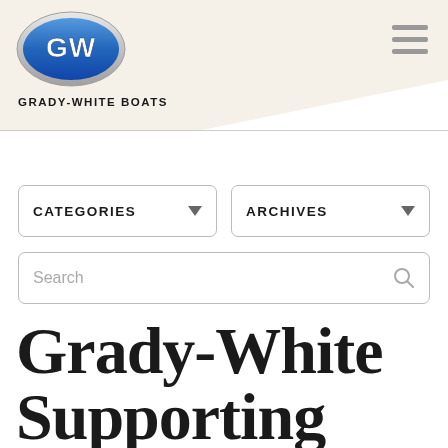[Figure (logo): Grady-White Boats GW oval logo with silver border and blue background]
GRADY-WHITE BOATS
Grady-White Supporting